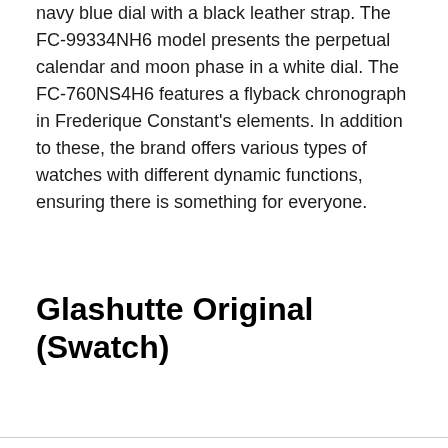navy blue dial with a black leather strap. The FC-99334NH6 model presents the perpetual calendar and moon phase in a white dial. The FC-760NS4H6 features a flyback chronograph in Frederique Constant's elements. In addition to these, the brand offers various types of watches with different dynamic functions, ensuring there is something for everyone.
Glashutte Original (Swatch)